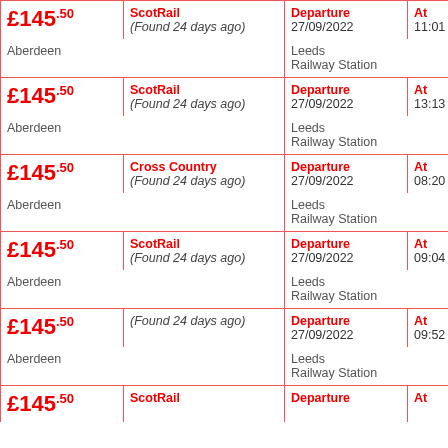| Price | Operator | Type / Date | Time |
| --- | --- | --- | --- |
| £145.50 | ScotRail (Found 24 days ago) | Departure 27/09/2022 | At 11:01 |
| Aberdeen |  | Leeds Railway Station |  |
| £145.50 | ScotRail (Found 24 days ago) | Departure 27/09/2022 | At 13:13 |
| Aberdeen |  | Leeds Railway Station |  |
| £145.50 | Cross Country (Found 24 days ago) | Departure 27/09/2022 | At 08:20 |
| Aberdeen |  | Leeds Railway Station |  |
| £145.50 | ScotRail (Found 24 days ago) | Departure 27/09/2022 | At 09:04 |
| Aberdeen |  | Leeds Railway Station |  |
| £145.50 | (Found 24 days ago) | Departure 27/09/2022 | At 09:52 |
| Aberdeen |  | Leeds Railway Station |  |
| £145.50 | ScotRail | Departure | At |